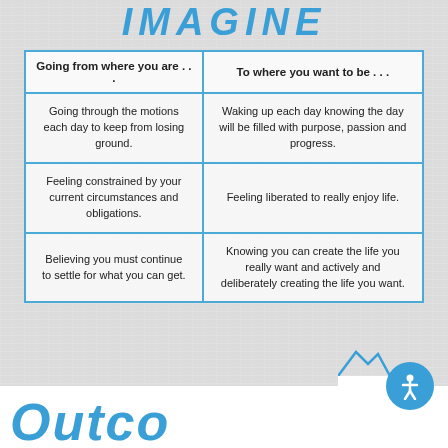IMAGINE
| Going from where you are ... | To where you want to be ... |
| --- | --- |
| Going through the motions each day to keep from losing ground. | Waking up each day knowing the day will be filled with purpose, passion and progress. |
| Feeling constrained by your current circumstances and obligations. | Feeling liberated to really enjoy life. |
| Believing you must continue to settle for what you can get. | Knowing you can create the life you really want and actively and deliberately creating the life you want. |